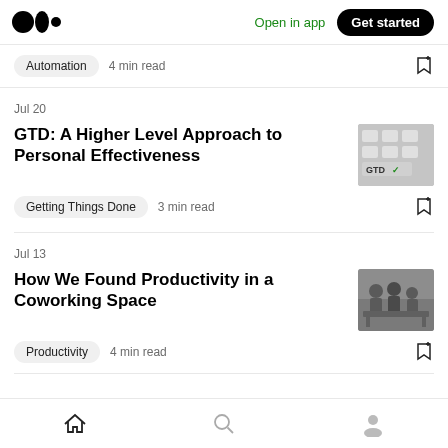Medium logo | Open in app | Get started
Automation  4 min read
Jul 20
GTD: A Higher Level Approach to Personal Effectiveness
Getting Things Done  3 min read
Jul 13
How We Found Productivity in a Coworking Space
Productivity  4 min read
Home | Search | Profile